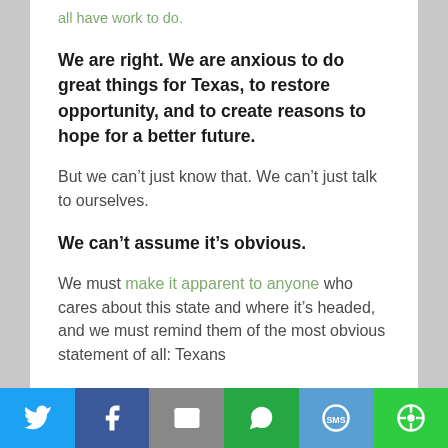all have work to do.
We are right. We are anxious to do great things for Texas, to restore opportunity, and to create reasons to hope for a better future.
But we can't just know that. We can't just talk to ourselves.
We can't assume it's obvious.
We must make it apparent to anyone who cares about this state and where it's headed, and we must remind them of the most obvious statement of all: Texans
Twitter | Facebook | Email | WhatsApp | SMS | Other